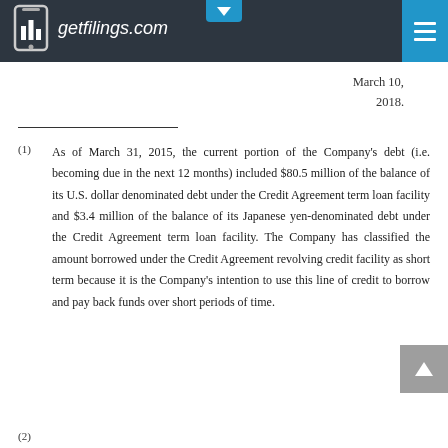getfilings.com
March 10, 2018.
(1) As of March 31, 2015, the current portion of the Company's debt (i.e. becoming due in the next 12 months) included $80.5 million of the balance of its U.S. dollar denominated debt under the Credit Agreement term loan facility and $3.4 million of the balance of its Japanese yen-denominated debt under the Credit Agreement term loan facility. The Company has classified the amount borrowed under the Credit Agreement revolving credit facility as short term because it is the Company's intention to use this line of credit to borrow and pay back funds over short periods of time.
(2)